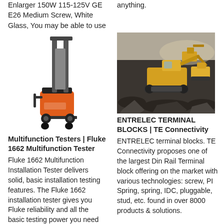Enlarger 150W 115-125V GE E26 Medium Screw, White Glass, You may be able to use
anything.
[Figure (photo): Electric stacker/pallet truck with orange base and tall black mast]
[Figure (photo): Excavators and construction equipment working on a dark rocky terrain/mine site]
Multifunction Testers | Fluke 1662 Multifunction Tester
Fluke 1662 Multifunction Installation Tester delivers solid, basic installation testing features. The Fluke 1662 installation tester gives you Fluke reliability and all the basic testing power you need for day-in, day-out installation testing. It
ENTRELEC TERMINAL BLOCKS | TE Connectivity
ENTRELEC terminal blocks. TE Connectivity proposes one of the largest Din Rail Terminal block offering on the market with various technologies: screw, PI Spring, spring, IDC, pluggable, stud, etc. found in over 8000 products & solutions.